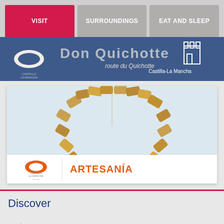VISIT | SURROUNDINGS | EAT AND SLEEP
[Figure (screenshot): Don Quichotte route banner with Castilla-La Mancha branding on blue background]
[Figure (photo): Artesania promotional image showing a heart made of wooden blocks, with orange logo and ARTESANIA text at the bottom]
Discover
Heritage
Nature